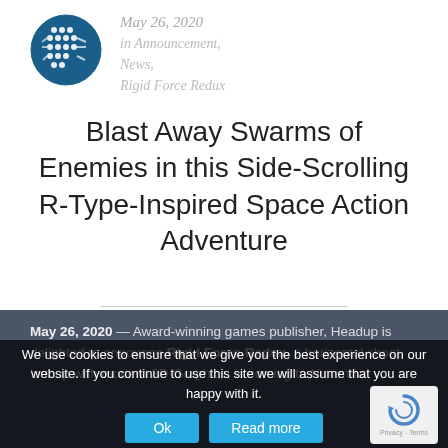[Figure (logo): Circular logo with circuit board pattern in blue and white]
May 26, 2020
in Announcement,
News,
Rigid Force Redux
Blast Away Swarms of Enemies in this Side-Scrolling R-Type-Inspired Space Action Adventure
May 26, 2020 — Award-winning games publisher, Headup is delighted to announce Rigid Force Redux, a horizontal shoot 'em up with modern 3D-Graphics, is coming to Nintendo
We use cookies to ensure that we give you the best experience on our website. If you continue to use this site we will assume that you are happy with it.